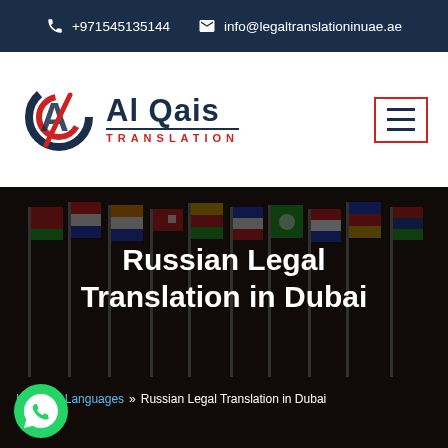+971545135144  info@legaltranslationinuae.ae
[Figure (logo): Al Qais Translation logo with stylized A/Q icon in red and navy, text 'Al Qais' in navy and 'TRANSLATION' in red, plus hamburger menu button]
[Figure (photo): Background photo of multiple international flags on poles in a conference room setting, darkened with overlay]
Russian Legal Translation in Dubai
Home » Languages » Russian Legal Translation in Dubai